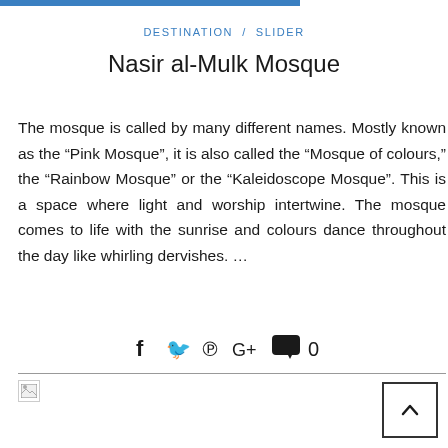DESTINATION  /  SLIDER
Nasir al-Mulk Mosque
The mosque is called by many different names. Mostly known as the “Pink Mosque”, it is also called the “Mosque of colours,” the “Rainbow Mosque” or the “Kaleidoscope Mosque”. This is a space where light and worship intertwine. The mosque comes to life with the sunrise and colours dance throughout the day like whirling dervishes. …
[Figure (other): Social sharing icons: Facebook, Twitter, Pinterest, Google+, comment bubble with count 0]
[Figure (other): Broken image placeholder at bottom left, and back-to-top button at bottom right with upward chevron]